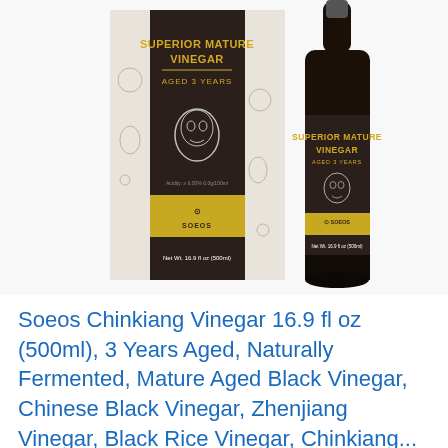[Figure (photo): Product photo showing a Soeos Superior Mature Vinegar box and bottle. The box and bottle label are dark brown/black with gold text reading 'SUPERIOR MATURE VINEGAR AGED 3 YEARS' and a decorative Chinese opera mask design. A gold SOEOS brand logo appears on a yellow band. Text on box and bottle reads 'Net Wt. 16.9 fl oz (500ml)' and 'Acidity: ≥ 6.00% 6.0g/100ml'. The box features black-and-white botanical/floral illustrations.]
Soeos Chinkiang Vinegar 16.9 fl oz (500ml), 3 Years Aged, Naturally Fermented, Mature Aged Black Vinegar, Chinese Black Vinegar, Zhenjiang Vinegar, Black Rice Vinegar, Chinkiang...